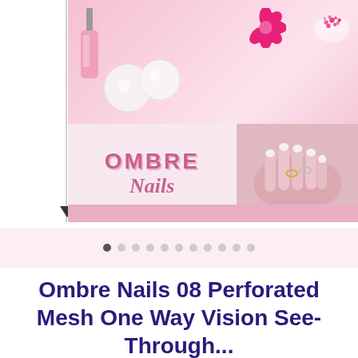[Figure (photo): Product image showing nail salon themed promotional banner for 'Ombre Nails' — top half shows pink nail polish bottle, pink decorative balls, bright pink flower, and bowl of pink confetti/beads on pink background; bottom half shows the 'Ombre Nails' logo on left and a photo of manicured hands with rings on right, with a pink banner strip along the bottom.]
[Figure (infographic): Image carousel navigation dots — 11 circles, the leftmost filled/dark, the rest light grey, indicating this is slide 1 of 11.]
Ombre Nails 08 Perforated Mesh One Way Vision See-Through...